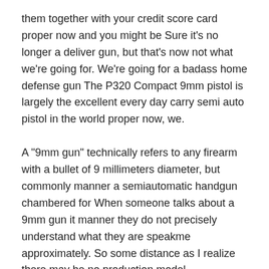them together with your credit score card proper now and you might be Sure it's no longer a deliver gun, but that's now not what we're going for. We're going for a badass home defense gun The P320 Compact 9mm pistol is largely the excellent every day carry semi auto pistol in the world proper now, we.
A "9mm gun" technically refers to any firearm with a bullet of 9 millimeters diameter, but commonly manner a semiautomatic handgun chambered for When someone talks about a 9mm gun it manner they do not precisely understand what they are speakme approximately. So some distance as I realize there may be no production model.